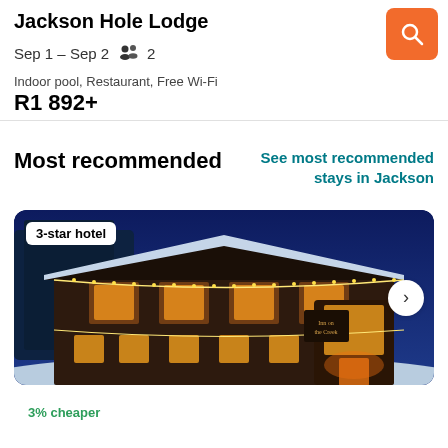Jackson Hole Lodge
Sep 1 – Sep 2   👥 2
Indoor pool, Restaurant, Free Wi-Fi
R1 892+
Most recommended
See most recommended stays in Jackson
[Figure (photo): Exterior photo of Inn on the Creek, a 3-star hotel, illuminated with Christmas lights against a snowy blue-dusk sky.]
3% cheaper
Inn on the Creek